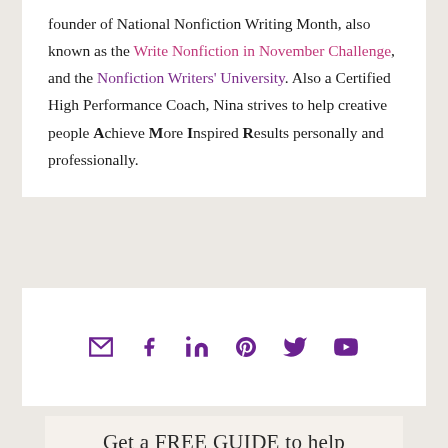founder of National Nonfiction Writing Month, also known as the Write Nonfiction in November Challenge, and the Nonfiction Writers' University. Also a Certified High Performance Coach, Nina strives to help creative people Achieve More Inspired Results personally and professionally.
[Figure (infographic): Row of six social media icon links (email, facebook, linkedin, pinterest, twitter, youtube) in purple color]
Get a FREE GUIDE to help